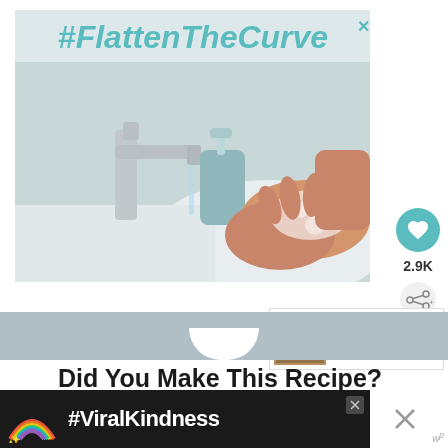[Figure (photo): Advertisement image with #FlattenTheCurve hashtag text at top over a photo of hands being washed at a sink with soap, with a chrome faucet and blue soap dispenser visible.]
2.9K
WHAT'S NEXT → 40+ Best New Year's Eve...
Did You Make This Recipe?
[Figure (photo): Advertisement banner with rainbow illustration and #ViralKindness hashtag text on dark background.]